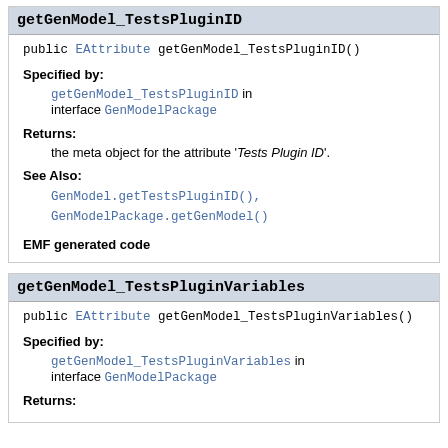getGenModel_TestsPluginID
public EAttribute getGenModel_TestsPluginID()
Specified by:
getGenModel_TestsPluginID in interface GenModelPackage
Returns:
the meta object for the attribute 'Tests Plugin ID'.
See Also:
GenModel.getTestsPluginID(), GenModelPackage.getGenModel()
EMF generated code
getGenModel_TestsPluginVariables
public EAttribute getGenModel_TestsPluginVariables()
Specified by:
getGenModel_TestsPluginVariables in interface GenModelPackage
Returns: